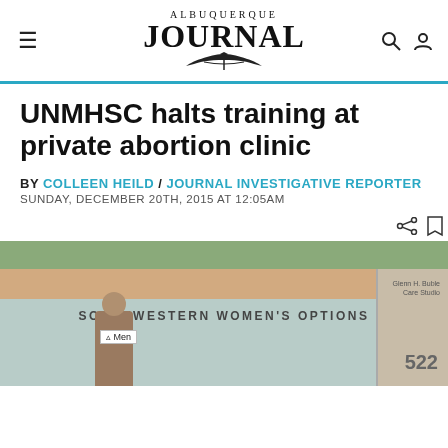ALBUQUERQUE JOURNAL
UNMHSC halts training at private abortion clinic
BY COLLEEN HEILD / JOURNAL INVESTIGATIVE REPORTER
SUNDAY, DECEMBER 20TH, 2015 AT 12:05AM
[Figure (photo): Photo of Southwestern Women's Options clinic exterior with a person holding a sign in front. The building sign reads 'SOUTHWESTERN WOMEN'S OPTIONS'. The address 522 is visible on the right side.]